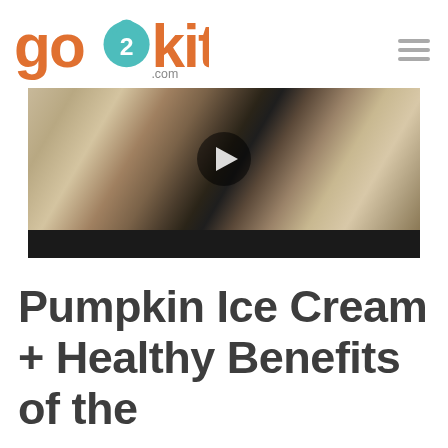go2kitchens.com
[Figure (screenshot): Video thumbnail showing a person in a kitchen holding a bottle, with a play button overlay and black bar at the bottom.]
Pumpkin Ice Cream + Healthy Benefits of the